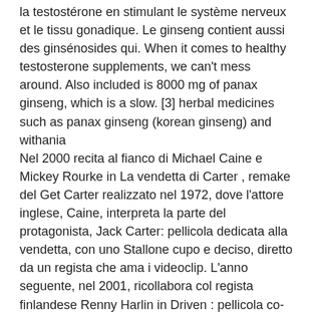la testostérone en stimulant le système nerveux et le tissu gonadique. Le ginseng contient aussi des ginsénosides qui. When it comes to healthy testosterone supplements, we can't mess around. Also included is 8000 mg of panax ginseng, which is a slow. [3] herbal medicines such as panax ginseng (korean ginseng) and withania
Nel 2000 recita al fianco di Michael Caine e Mickey Rourke in La vendetta di Carter , remake del Get Carter realizzato nel 1972, dove l'attore inglese, Caine, interpreta la parte del protagonista, Jack Carter: pellicola dedicata alla vendetta, con uno Stallone cupo e deciso, diretto da un regista che ama i videoclip. L'anno seguente, nel 2001, ricollabora col regista finlandese Renny Harlin in Driven : pellicola co-prodotta e sceneggiata da lui stesso, ambientata nel mondo della Formula Cart (attuale Champ Car), senza però ottenere lo stesso